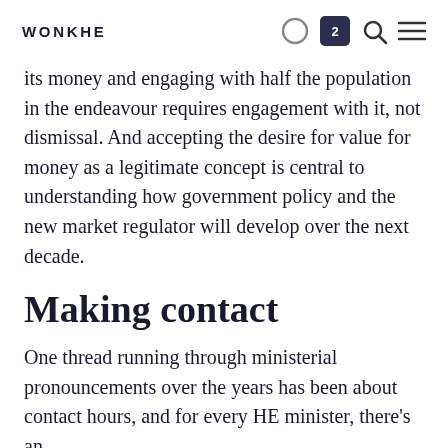WONKHE
its money and engaging with half the population in the endeavour requires engagement with it, not dismissal. And accepting the desire for value for money as a legitimate concept is central to understanding how government policy and the new market regulator will develop over the next decade.
Making contact
One thread running through ministerial pronouncements over the years has been about contact hours, and for every HE minister, there's an